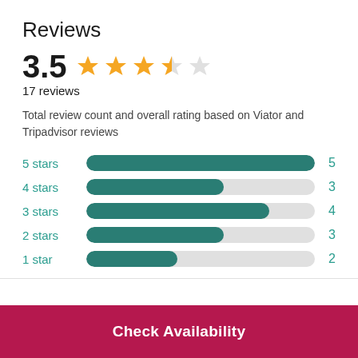Reviews
3.5 ★★★★☆ 17 reviews
Total review count and overall rating based on Viator and Tripadvisor reviews
[Figure (bar-chart): Star rating breakdown]
Check Availability